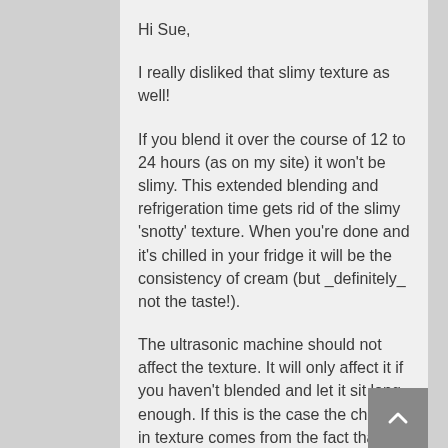Hi Sue,
I really disliked that slimy texture as well!
If you blend it over the course of 12 to 24 hours (as on my site) it won’t be slimy. This extended blending and refrigeration time gets rid of the slimy ‘snotty’ texture. When you’re done and it’s chilled in your fridge it will be the consistency of cream (but _definitely_ not the taste!).
The ultrasonic machine should not affect the texture. It will only affect it if you haven’t blended and let it sit long enough. If this is the case the change in texture comes from the fact that the lecithin absorbs more water, not from the ultrasonic machine itself.
What kind of ultrasound machine do you